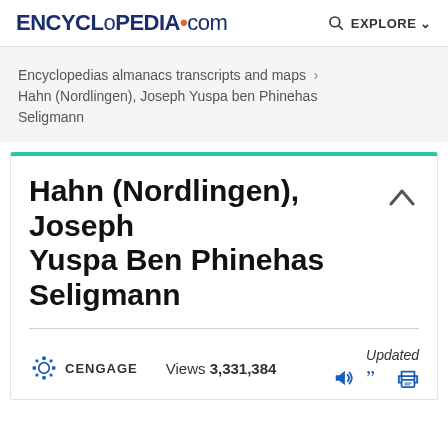ENCYCLopedia.com  EXPLORE
Encyclopedias almanacs transcripts and maps > Hahn (Nordlingen), Joseph Yuspa ben Phinehas Seligmann
Hahn (Nordlingen), Joseph Yuspa Ben Phinehas Seligmann
Views 3,331,384  Updated